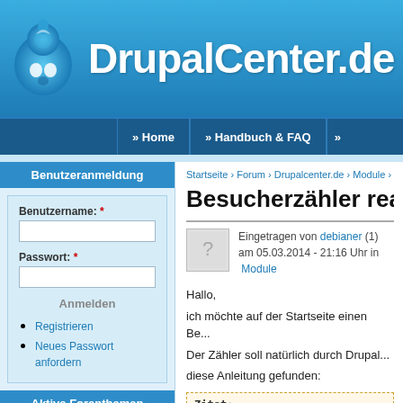[Figure (logo): DrupalCenter.de website header with Drupal logo and site name]
» Home  » Handbuch & FAQ  »
Startseite › Forum › Drupalcenter.de › Module ›
Besucherzähler reali...
Eingetragen von debianer (1)
am 05.03.2014 - 21:16 Uhr in  Module
Hallo,
ich möchte auf der Startseite einen Be...
Der Zähler soll natürlich durch Drupal...
diese Anleitung gefunden:
Benutzeranmeldung
Benutzername: *
Passwort: *
Anmelden
Registrieren
Neues Passwort anfordern
Aktive Forenthemen
Zitat:
Drupal 7 - Hit/Page View counter ...
Another task I had to spend more ...